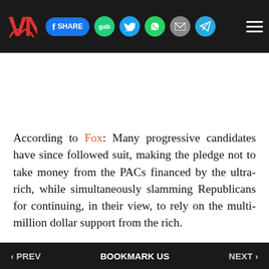VN logo and social share buttons: SHARE, gab, Twitter, WhatsApp, email, Telegram, hamburger menu
According to Fox: Many progressive candidates have since followed suit, making the pledge not to take money from the PACs financed by the ultra-rich, while simultaneously slamming Republicans for continuing, in their view, to rely on the multi-million dollar support from the rich.
But as Democrats shun direct donations from the billionaires, they pour hundreds of millions into groups aimed at mobilizing voters and running ads against their political opponents.
‹ PREV   BOOKMARK US   NEXT ›